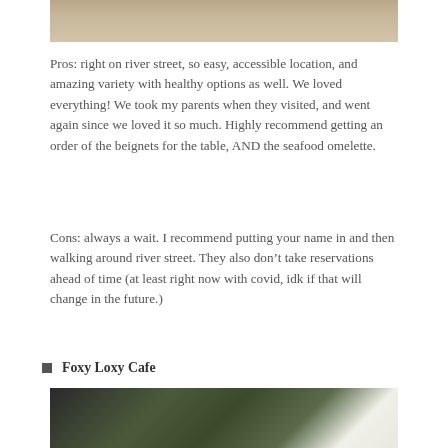[Figure (photo): Top portion of a photo showing what appears to be a sandy or stone textured surface, cropped at the top of the page.]
Pros: right on river street, so easy, accessible location, and amazing variety with healthy options as well. We loved everything! We took my parents when they visited, and went again since we loved it so much. Highly recommend getting an order of the beignets for the table, AND the seafood omelette.
Cons: always a wait. I recommend putting your name in and then walking around river street. They also don’t take reservations ahead of time (at least right now with covid, idk if that will change in the future.)
Foxy Loxy Cafe
[Figure (photo): Photo showing what appears to be a cafe or outdoor dining area with black iron railings, green trees/foliage in the background, and a white cloth or napkin in the foreground.]